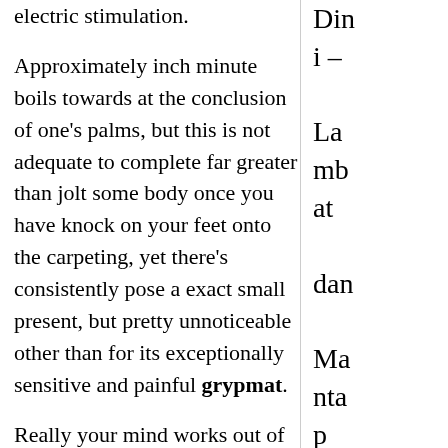electric stimulation.
Approximately inch minute boils towards at the conclusion of one's palms, but this is not adequate to complete far greater than jolt some body once you have knock on your feet onto the carpeting, yet there's consistently pose a exact small present, but pretty unnoticeable other than for its exceptionally sensitive and painful grypmat.
Really your mind works out of A20 W machine, and it is definitely an unbelievable
Dini – Lambat dan Mantap Dengan Bisnis Sampingan